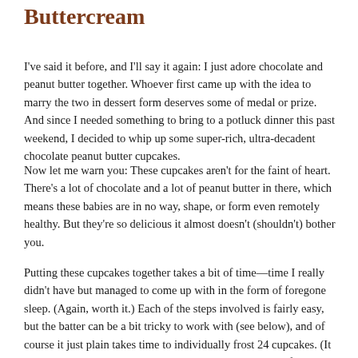Buttercream
I've said it before, and I'll say it again: I just adore chocolate and peanut butter together. Whoever first came up with the idea to marry the two in dessert form deserves some of medal or prize. And since I needed something to bring to a potluck dinner this past weekend, I decided to whip up some super-rich, ultra-decadent chocolate peanut butter cupcakes.
Now let me warn you: These cupcakes aren't for the faint of heart. There's a lot of chocolate and a lot of peanut butter in there, which means these babies are in no way, shape, or form even remotely healthy. But they're so delicious it almost doesn't (shouldn't) bother you.
Putting these cupcakes together takes a bit of time—time I really didn't have but managed to come up with in the form of foregone sleep. (Again, worth it.) Each of the steps involved is fairly easy, but the batter can be a bit tricky to work with (see below), and of course it just plain takes time to individually frost 24 cupcakes. (It takes even longer when you keep stopping to sample the frosting while refilling your piping bag.) But the end